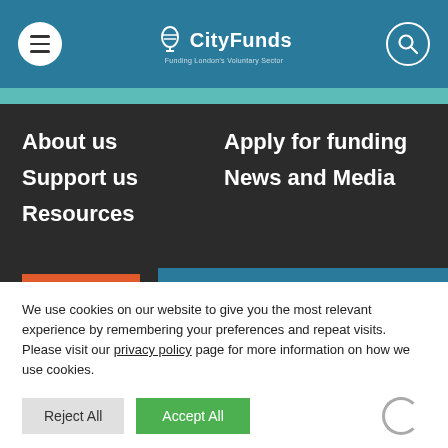CityFunds — Navigation header with menu, logo, and search
About us
Apply for funding
Support us
News and Media
Resources
We use cookies on our website to give you the most relevant experience by remembering your preferences and repeat visits. Please visit our privacy policy page for more information on how we use cookies.